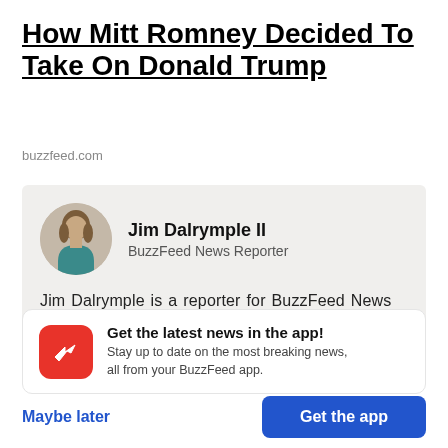How Mitt Romney Decided To Take On Donald Trump
buzzfeed.com
Jim Dalrymple II
BuzzFeed News Reporter

Jim Dalrymple is a reporter for BuzzFeed News and is based in Los Angeles.
Get the latest news in the app! Stay up to date on the most breaking news, all from your BuzzFeed app.
Maybe later
Get the app